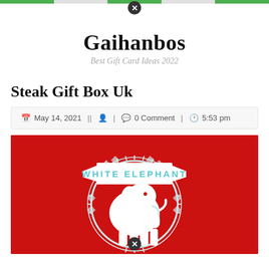Gaihanbos — Best Gift Card Ideas 2022
Steak Gift Box Uk
May 14, 2021 || [author icon] | [comment icon] 0 Comment | [clock icon] 5:53 pm
[Figure (illustration): Red background illustration with a white elephant silhouette in the center, surrounded by a decorative circular border with geometric patterns. A banner ribbon across the top reads 'WHITE ELEPHANT' in teal/cyan lettering.]